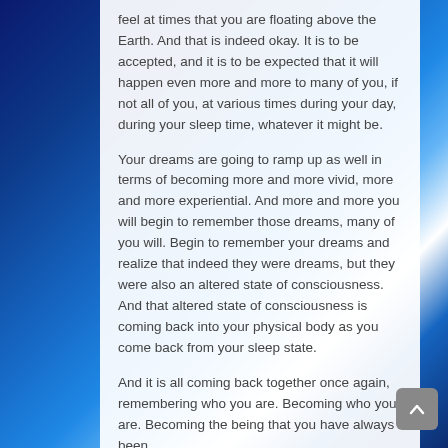feel at times that you are floating above the Earth. And that is indeed okay. It is to be accepted, and it is to be expected that it will happen even more and more to many of you, if not all of you, at various times during your day, during your sleep time, whatever it might be.
Your dreams are going to ramp up as well in terms of becoming more and more vivid, more and more experiential. And more and more you will begin to remember those dreams, many of you will. Begin to remember your dreams and realize that indeed they were dreams, but they were also an altered state of consciousness. And that altered state of consciousness is coming back into your physical body as you come back from your sleep state.
And it is all coming back together once again, remembering who you are. Becoming who you are. Becoming the being that you have always been.